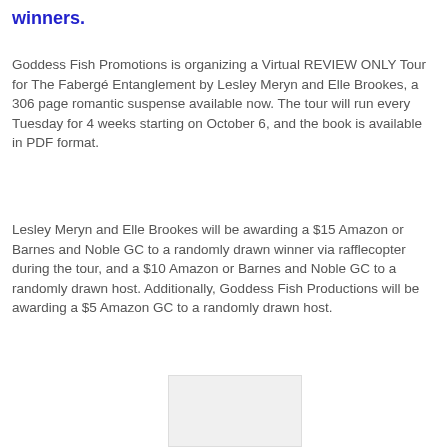winners.
Goddess Fish Promotions is organizing a Virtual REVIEW ONLY Tour for The Fabergé Entanglement by Lesley Meryn and Elle Brookes, a 306 page romantic suspense available now. The tour will run every Tuesday for 4 weeks starting on October 6, and the book is available in PDF format.
Lesley Meryn and Elle Brookes will be awarding a $15 Amazon or Barnes and Noble GC to a randomly drawn winner via rafflecopter during the tour, and a $10 Amazon or Barnes and Noble GC to a randomly drawn host. Additionally, Goddess Fish Productions will be awarding a $5 Amazon GC to a randomly drawn host.
[Figure (other): A blank/white image placeholder for a book cover or promotional image.]